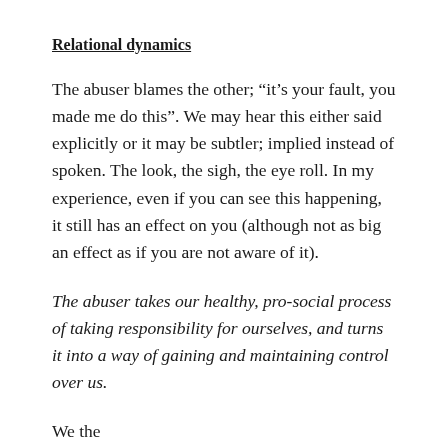Relational dynamics
The abuser blames the other; “it’s your fault, you made me do this”. We may hear this either said explicitly or it may be subtler; implied instead of spoken. The look, the sigh, the eye roll. In my experience, even if you can see this happening, it still has an effect on you (although not as big an effect as if you are not aware of it).
The abuser takes our healthy, pro-social process of taking responsibility for ourselves, and turns it into a way of gaining and maintaining control over us.
We the...